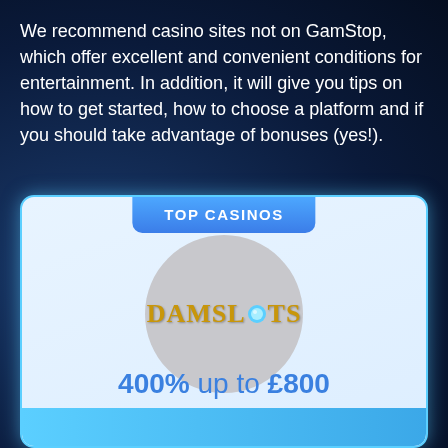We recommend casino sites not on GamStop, which offer excellent and convenient conditions for entertainment. In addition, it will give you tips on how to get started, how to choose a platform and if you should take advantage of bonuses (yes!).
TOP CASINOS
[Figure (logo): DamSlots casino logo in a grey circle — stylized text 'DAMSLOTS' with a blue gem replacing the 'O']
400% up to £800